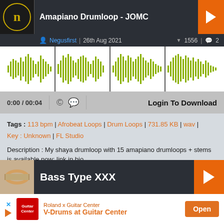[Figure (screenshot): Music track listing page showing two audio tracks. First track: 'Amapiano Drumloop - JOMC' by Negusfirst, 26th Aug 2021, 1556 downloads, 2 comments, with waveform visualization. Second track: 'Bass Type XXX' by 808purp, 21st Jun 2017, 1536 downloads, 2 comments.]
Amapiano Drumloop - JOMC
Negusfirst | 26th Aug 2021  ▼ 1556 | 💬 2
0:00 / 00:04
Login To Download
Tags : 113 bpm | Afrobeat Loops | Drum Loops | 731.85 KB | wav | Key : Unknown | FL Studio
Description : My shaya drumloop with 15 amapiano drumloops + stems is available now: link in bio
Bass Type XXX
808purp | 21st Jun 2017  ▼ 1536 | 💬 2
[Figure (screenshot): Advertisement banner: Roland x Guitar Center - V-Drums at Guitar Center with Open button]